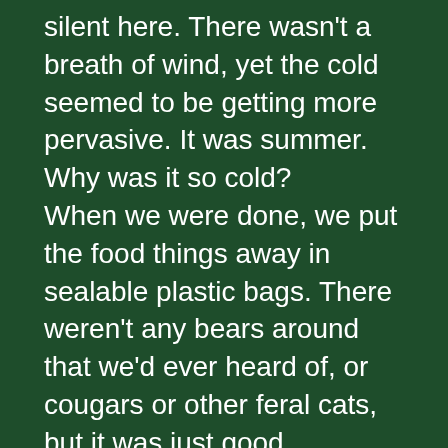silent here. There wasn't a breath of wind, yet the cold seemed to be getting more pervasive. It was summer. Why was it so cold?
When we were done, we put the food things away in sealable plastic bags. There weren't any bears around that we'd ever heard of, or cougars or other feral cats, but it was just good woodsmanship to pack things up. While we were doing that chore, I felt a slight breeze. By the time we were done, it was more than a breeze. It had grown into a wind. A cold wind. And now there was noise, because it